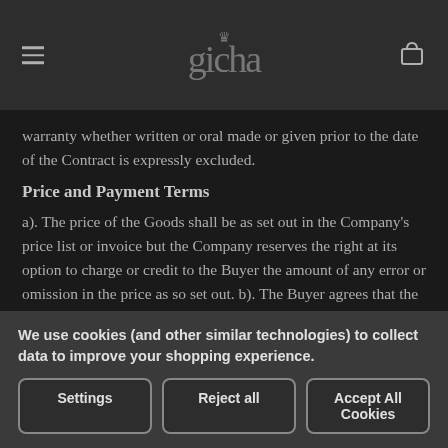Gicha logo with hamburger menu and bag icon
warranty whether written or oral made or given prior to the date of the Contract is expressly excluded.
Price and Payment Terms
a). The price of the Goods shall be as set out in the Company's price list or invoice but the Company reserves the right at its option to charge or credit to the Buyer the amount of any error or omission in the price as so set out. b). The Buyer agrees that the Company shall have the right at any time before
We use cookies (and other similar technologies) to collect data to improve your shopping experience.